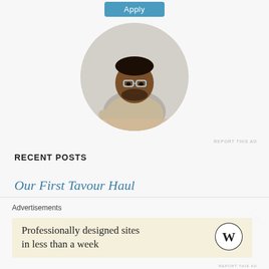[Figure (photo): A circular profile photo of a young man with glasses and a beard, wearing a beige t-shirt, sitting at a desk looking upward and smiling, resting his chin on his hand.]
REPORT THIS AD
RECENT POSTS
Our First Tavour Haul
Advertisements
Professionally designed sites in less than a week
REPORT THIS AD